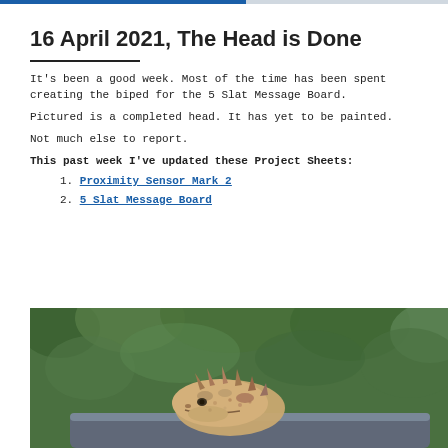16 April 2021, The Head is Done
It's been a good week. Most of the time has been spent creating the biped for the 5 Slat Message Board.
Pictured is a completed head. It has yet to be painted.
Not much else to report.
This past week I've updated these Project Sheets:
1. Proximity Sensor Mark 2
2. 5 Slat Message Board
[Figure (photo): A completed unpainted creature head (resembling a horned lizard or dragon) resting on a metal rail or pipe, set against a blurred green outdoor background.]